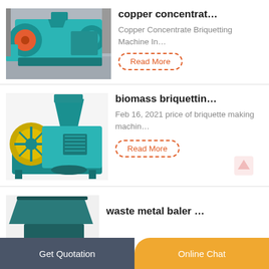[Figure (photo): Large teal/cyan industrial briquetting machine with red wheel, photographed in a factory setting]
copper concentrat…
Copper Concentrate Briquetting Machine In…
Read More
[Figure (photo): Teal/cyan biomass briquetting machine with yellow flywheel, photographed on white background]
biomass briquettin…
Feb 16, 2021 price of briquette making machin…
Read More
[Figure (photo): Partial view of a teal/dark green waste metal baler hopper/funnel machine]
waste metal baler …
Get Quotation   Online Chat